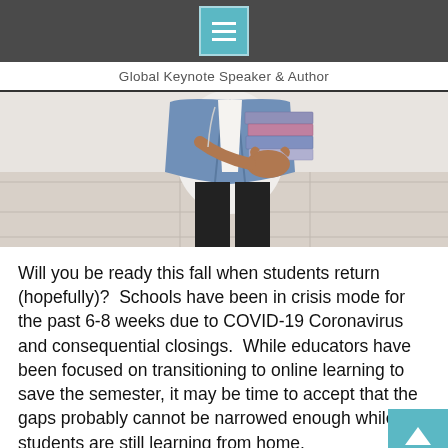Global Keynote Speaker & Author
[Figure (photo): A student from the torso down wearing a denim jacket and black pants, holding a stack of books/binders, standing on a light stone pavement.]
Will you be ready this fall when students return (hopefully)?  Schools have been in crisis mode for the past 6-8 weeks due to COVID-19 Coronavirus and consequential closings.  While educators have been focused on transitioning to online learning to save the semester, it may be time to accept that the gaps probably cannot be narrowed enough while students are still learning from home.